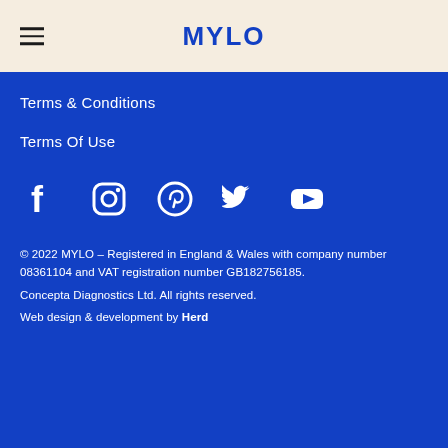MYLO
Terms & Conditions
Terms Of Use
[Figure (other): Social media icons row: Facebook, Instagram, Pinterest, Twitter, YouTube]
© 2022 MYLO – Registered in England & Wales with company number 08361104 and VAT registration number GB182756185. Concepta Diagnostics Ltd. All rights reserved. Web design & development by Herd